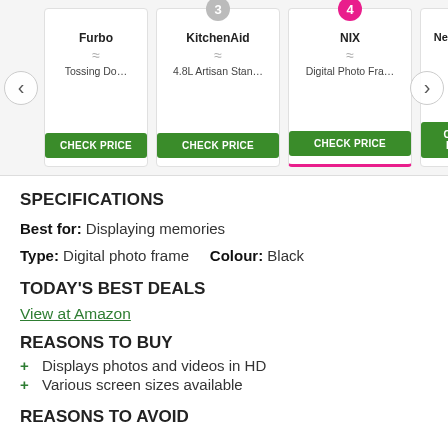[Figure (screenshot): Product carousel showing Furbo, KitchenAid (3), NIX Digital Photo Frame (4, active/selected), and Nespresso Iniss (5, partial). Each card has brand name, model snippet, wavy icon, and green CHECK PRICE button. Left/right navigation arrows visible.]
SPECIFICATIONS
Best for: Displaying memories
Type: Digital photo frame    Colour: Black
TODAY'S BEST DEALS
View at Amazon
REASONS TO BUY
+ Displays photos and videos in HD
+ Various screen sizes available
REASONS TO AVOID